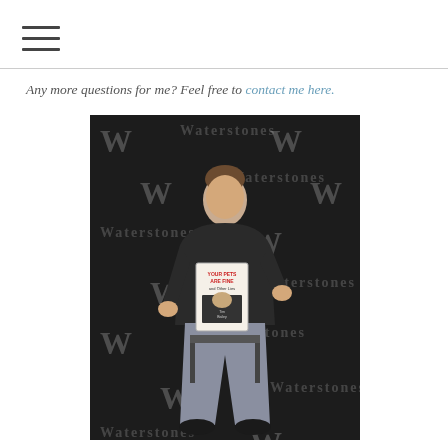☰ (hamburger menu)
Any more questions for me? Feel free to contact me here.
[Figure (photo): A man sitting on a stool at a Waterstones book signing event, holding a book titled 'Your Pets Are Fine and Other Lies', in front of a Waterstones branded backdrop with repeating 'W' and 'Waterstones' logos.]